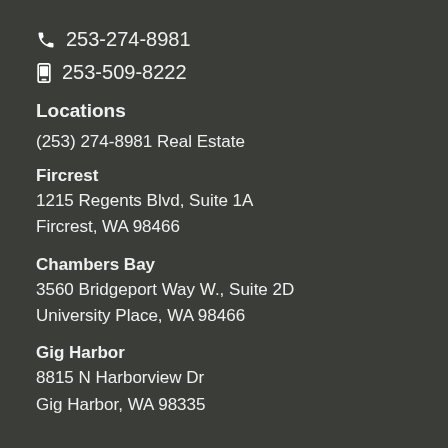📞 253-274-8981
📱 253-509-8222
Locations
(253) 274-8981 Real Estate
Fircrest
1215 Regents Blvd, Suite 1A
Fircrest, WA 98466
Chambers Bay
3560 Bridgeport Way W., Suite 2D
University Place, WA 98466
Gig Harbor
8815 N Harborview Dr
Gig Harbor, WA 98335